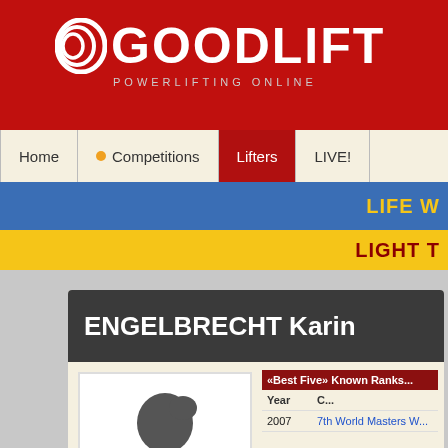[Figure (logo): Goodlift Powerlifting Online logo on red background]
Home | Competitions | Lifters | LIVE!
LIFE W...
LIGHT T...
ENGELBRECHT Karin
[Figure (photo): Silhouette placeholder photo of a person]
| «Best Five» Known Ranks... |  |
| --- | --- |
| Year | C... |
| 2007 | 7th World Masters W... |